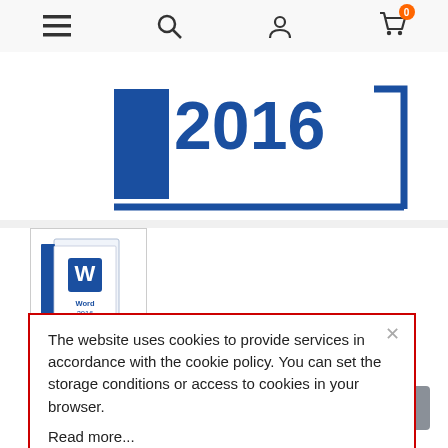Navigation bar with hamburger menu, search, account, and cart (0) icons
[Figure (photo): Microsoft Word 2016 product box art showing bold blue '2016' text with product box graphic on white background]
[Figure (photo): Thumbnail of Microsoft Word 2016 retail box showing Word logo and 'Word 2016' label]
The website uses cookies to provide services in accordance with the cookie policy. You can set the storage conditions or access to cookies in your browser.
Read more...
Permanently valid,
Download from the Manufacturer